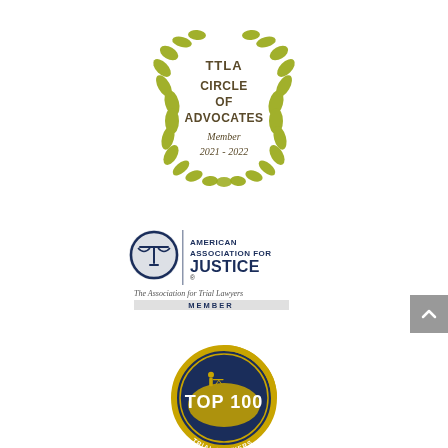[Figure (logo): TTLA Circle of Advocates Member 2021-2022 badge with olive wreath, circular design in olive/gold and dark brown colors]
[Figure (logo): American Association for Justice member badge - scales of justice icon, dark navy blue text, 'The Association for Trial Lawyers', MEMBER banner below]
[Figure (logo): The National Advocates Top 100 Trial Lawyers circular seal in navy blue and gold, with figure holding scales of justice]